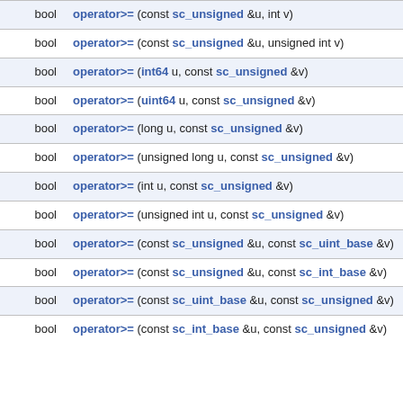| type | signature |
| --- | --- |
| bool | operator>= (const sc_unsigned &u, int v) |
| bool | operator>= (const sc_unsigned &u, unsigned int v) |
| bool | operator>= (int64 u, const sc_unsigned &v) |
| bool | operator>= (uint64 u, const sc_unsigned &v) |
| bool | operator>= (long u, const sc_unsigned &v) |
| bool | operator>= (unsigned long u, const sc_unsigned &v) |
| bool | operator>= (int u, const sc_unsigned &v) |
| bool | operator>= (unsigned int u, const sc_unsigned &v) |
| bool | operator>= (const sc_unsigned &u, const sc_uint_base &v) |
| bool | operator>= (const sc_unsigned &u, const sc_int_base &v) |
| bool | operator>= (const sc_uint_base &u, const sc_unsigned &v) |
| bool | operator>= (const sc_int_base &u, const sc_unsigned &v) |